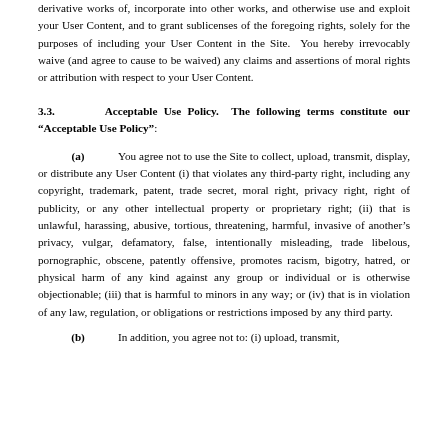derivative works of, incorporate into other works, and otherwise use and exploit your User Content, and to grant sublicenses of the foregoing rights, solely for the purposes of including your User Content in the Site.  You hereby irrevocably waive (and agree to cause to be waived) any claims and assertions of moral rights or attribution with respect to your User Content.
3.3.        Acceptable Use Policy.  The following terms constitute our "Acceptable Use Policy":
(a)          You agree not to use the Site to collect, upload, transmit, display, or distribute any User Content (i) that violates any third-party right, including any copyright, trademark, patent, trade secret, moral right, privacy right, right of publicity, or any other intellectual property or proprietary right; (ii) that is unlawful, harassing, abusive, tortious, threatening, harmful, invasive of another's privacy, vulgar, defamatory, false, intentionally misleading, trade libelous, pornographic, obscene, patently offensive, promotes racism, bigotry, hatred, or physical harm of any kind against any group or individual or is otherwise objectionable; (iii) that is harmful to minors in any way; or (iv) that is in violation of any law, regulation, or obligations or restrictions imposed by any third party.
(b)          In addition, you agree not to: (i) upload, transmit,